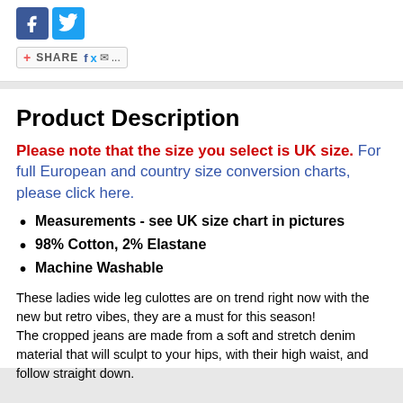[Figure (logo): Facebook and Twitter social media icon buttons]
[Figure (other): Share bar with plus icon, SHARE text, Facebook, Twitter, email and more icons]
Product Description
Please note that the size you select is UK size. For full European and country size conversion charts, please click here.
Measurements - see UK size chart in pictures
98% Cotton, 2% Elastane
Machine Washable
These ladies wide leg culottes are on trend right now with the new but retro vibes, they are a must for this season!
The cropped jeans are made from a soft and stretch denim material that will sculpt to your hips, with their high waist, and follow straight down.